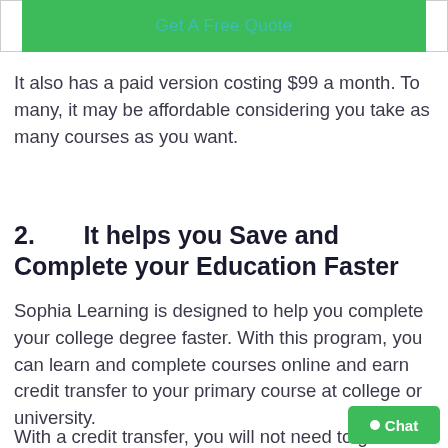[Figure (other): Green 'Get A Free Quote' button with white border elements on left and right]
It also has a paid version costing $99 a month. To many, it may be affordable considering you take as many courses as you want.
2.      It helps you Save and Complete your Education Faster
Sophia Learning is designed to help you complete your college degree faster. With this program, you can learn and complete courses online and earn credit transfer to your primary course at college or university.
With a credit transfer, you will not need to go
[Figure (other): Green chat button in bottom right corner with circle dot and 'Chat' label]